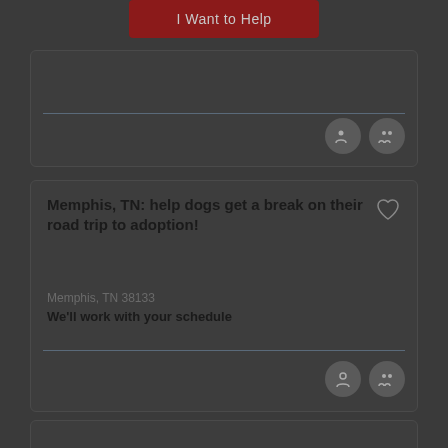I Want to Help
[Figure (screenshot): Partial card with divider and two icon buttons (phone and profile)]
Memphis, TN: help dogs get a break on their road trip to adoption!
Memphis, TN 38133
We'll work with your schedule
[Figure (screenshot): Partial card at bottom showing 'More' text in dark red]
More